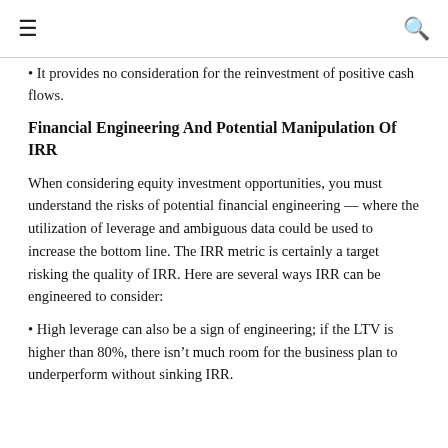☰  🔍
• It provides no consideration for the reinvestment of positive cash flows.
Financial Engineering And Potential Manipulation Of IRR
When considering equity investment opportunities, you must understand the risks of potential financial engineering — where the utilization of leverage and ambiguous data could be used to increase the bottom line. The IRR metric is certainly a target risking the quality of IRR. Here are several ways IRR can be engineered to consider:
• High leverage can also be a sign of engineering; if the LTV is higher than 80%, there isn't much room for the business plan to underperform without sinking IRR.